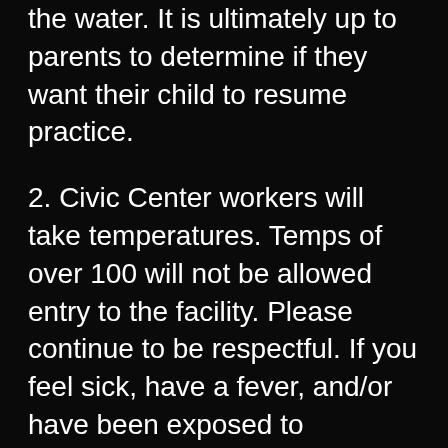the water. It is ultimately up to parents to determine if they want their child to resume practice.
2. Civic Center workers will take temperatures. Temps of over 100 will not be allowed entry to the facility. Please continue to be respectful. If you feel sick, have a fever, and/or have been exposed to someone with COVID-19 please stay home. Continue good hand hygiene.
3. No parents on deck (unless the swimmer has a medical condition) to